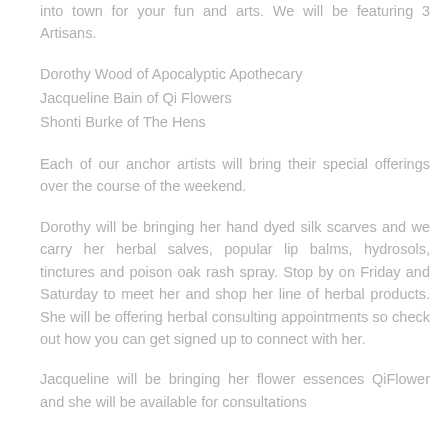into town for your fun and arts. We will be featuring 3 Artisans.
Dorothy Wood of Apocalyptic Apothecary
Jacqueline Bain of Qi Flowers
Shonti Burke of The Hens
Each of our anchor artists will bring their special offerings over the course of the weekend.
Dorothy will be bringing her hand dyed silk scarves and we carry her herbal salves, popular lip balms, hydrosols, tinctures and poison oak rash spray. Stop by on Friday and Saturday to meet her and shop her line of herbal products. She will be offering herbal consulting appointments so check out how you can get signed up to connect with her.
Jacqueline will be bringing her flower essences QiFlower and she will be available for consultations